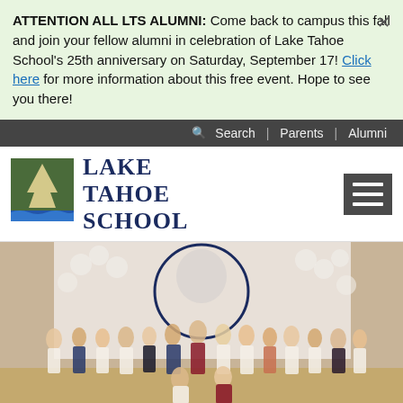ATTENTION ALL LTS ALUMNI: Come back to campus this fall and join your fellow alumni in celebration of Lake Tahoe School's 25th anniversary on Saturday, September 17! Click here for more information about this free event. Hope to see you there!
Search | Parents | Alumni
[Figure (logo): Lake Tahoe School logo: green square with white pine tree and blue wave/water at bottom, beside bold serif text reading LAKE TAHOE SCHOOL in dark navy blue]
[Figure (photo): Group photo of approximately 20-25 students dressed formally (mostly white dresses, some dark suits) standing in front of a large balloon backdrop featuring a blue and white circular mascot design. Two students are kneeling in front. Photo appears to be taken in a school gymnasium.]